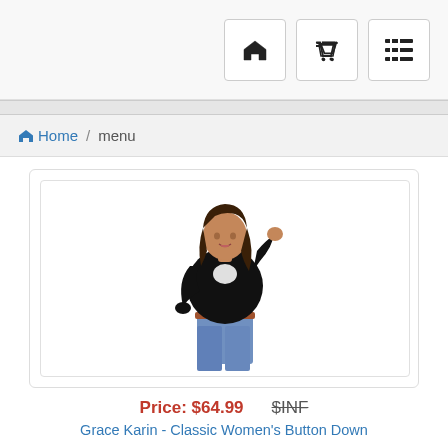Navigation bar with home, cart, and menu icons
Home / menu
[Figure (photo): Woman wearing a black button-down cardigan sweater over a white top with jeans and a brown belt, posing against a white background]
Price: $64.99  $INF
Grace Karin - Classic Women's Button Down